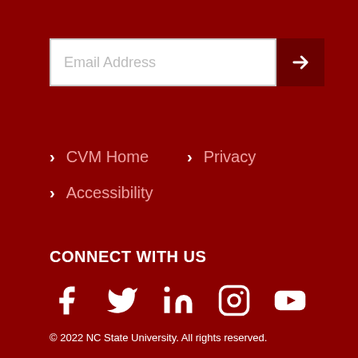[Figure (screenshot): Email address input field with white background and placeholder text 'Email Address', with a dark red submit button containing a right arrow icon]
> CVM Home
> Privacy
> Accessibility
CONNECT WITH US
[Figure (infographic): Social media icons: Facebook, Twitter, LinkedIn, Instagram, YouTube]
© 2022 NC State University. All rights reserved.